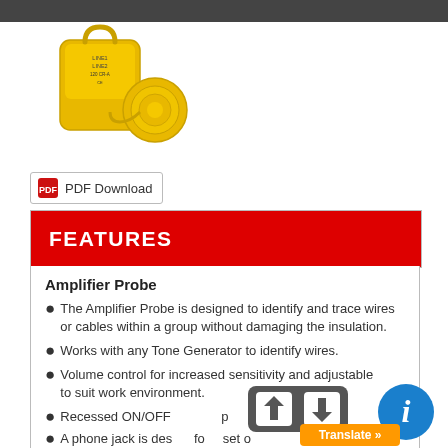[Figure (photo): Yellow amplifier probe device with label, shown on white background]
PDF Download
FEATURES
Amplifier Probe
The Amplifier Probe is designed to identify and trace wires or cables within a group without damaging the insulation.
Works with any Tone Generator to identify wires.
Volume control for increased sensitivity and adjustable to suit work environment.
Recessed ON/OFF p...s battery drain
A phone jack is des...fo...set o...